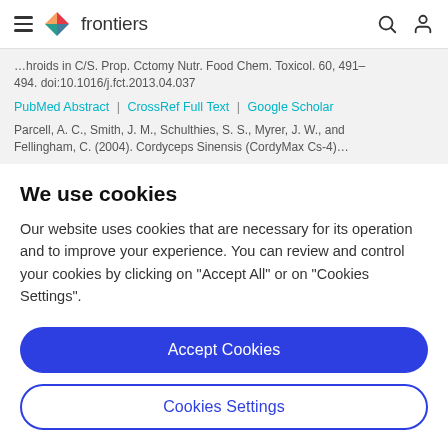frontiers
…hroids in C/S. Prop. Cctomy Nutr. Food Chem. Toxicol. 60, 491–494. doi:10.1016/j.fct.2013.04.037
PubMed Abstract | CrossRef Full Text | Google Scholar
Parcell, A. C., Smith, J. M., Schulthies, S. S., Myrer, J. W., and Fellingham, C. (2004). Cordyceps Sinensis (CordyMax Cs-4)…
We use cookies
Our website uses cookies that are necessary for its operation and to improve your experience. You can review and control your cookies by clicking on "Accept All" or on "Cookies Settings".
Accept Cookies
Cookies Settings